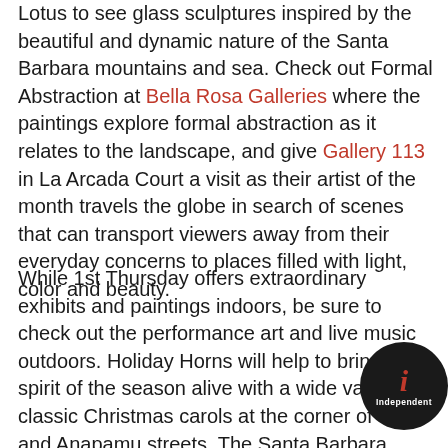Lotus to see glass sculptures inspired by the beautiful and dynamic nature of the Santa Barbara mountains and sea. Check out Formal Abstraction at Bella Rosa Galleries where the paintings explore formal abstraction as it relates to the landscape, and give Gallery 113 in La Arcada Court a visit as their artist of the month travels the globe in search of scenes that can transport viewers away from their everyday concerns to places filled with light, color and beauty.
While 1st Thursday offers extraordinary exhibits and paintings indoors, be sure to check out the performance art and live music outdoors. Holiday Horns will help to bring the spirit of the season alive with a wide variety of classic Christmas carols at the corner of State and Anapamu streets. The Santa Barbara Revels will present highlights from this year's production The Christmas Revels: A Victorian Celebration of the Winter Solstice on the El patio, and stop by the Holiday Tree Decorating station while
[Figure (logo): Santa Barbara Independent logo — circular black badge with red italic 'i' and white text 'Independent']